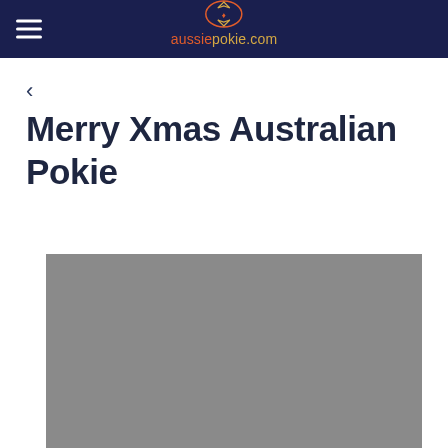aussiepokie.com
<
Merry Xmas Australian Pokie
[Figure (photo): Gray image placeholder for a Christmas Australian Pokie game screenshot]